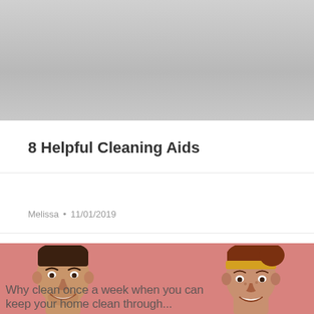[Figure (photo): Gray placeholder image rectangle at the top of the page]
8 Helpful Cleaning Aids
Melissa · 11/01/2019
[Figure (photo): Photo of a laughing man on the left and a smiling woman with a yellow headband on the right, against a pink background. Overlaid text reads: 'Why clean once a week when you can keep your home clean through...']